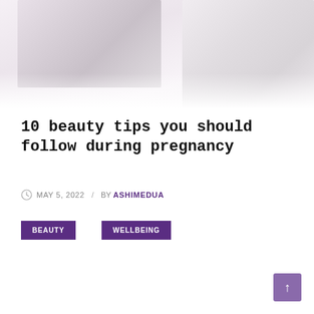[Figure (photo): Partial view of a woman during pregnancy, soft white and lavender tones, cropped at the top of the page]
10 beauty tips you should follow during pregnancy
MAY 5, 2022  /  BY ASHIMEDUA
BEAUTY
WELLBEING